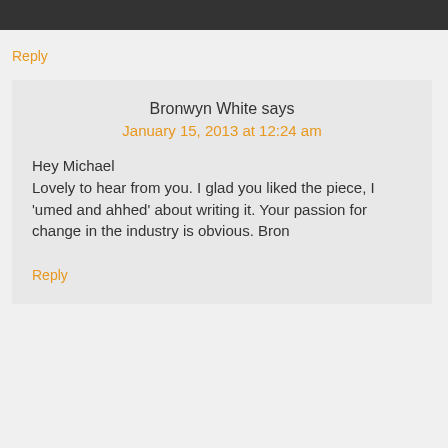Reply
Bronwyn White says
January 15, 2013 at 12:24 am
Hey Michael
Lovely to hear from you. I glad you liked the piece, I 'umed and ahhed' about writing it. Your passion for change in the industry is obvious. Bron
Reply